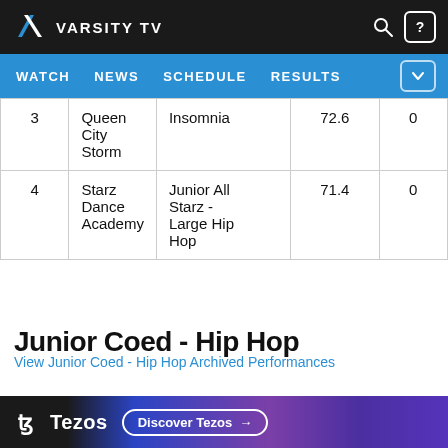VARSITY TV — WATCH | NEWS | SCHEDULE | RESULTS
| # | Team | Routine | Score |  |
| --- | --- | --- | --- | --- |
| 3 | Queen City Storm | Insomnia | 72.6 | 0 |
| 4 | Starz Dance Academy | Junior All Starz - Large Hip Hop | 71.4 | 0 |
Junior Coed - Hip Hop
View Junior Coed - Hip Hop Archived Performances
Tezos — Discover Tezos →